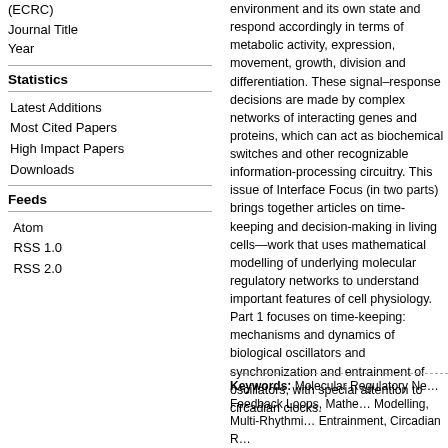(ECRC)
Journal Title
Year
Statistics
Latest Additions
Most Cited Papers
High Impact Papers
Downloads
Feeds
Atom
RSS 1.0
RSS 2.0
environment and its own state and respond accordingly in terms of metabolic activity, expression, movement, growth, division and differentiation. These signal–response decisions are made by complex networks of interacting genes and proteins, which can act as biochemical switches and other recognizable information-processing circuitry. This issue of Interface Focus (in two parts) brings together articles on time-keeping and decision-making in living cells—work that uses mathematical modelling of underlying molecular regulatory networks to understand important features of cell physiology. Part 1 focuses on time-keeping: mechanisms and dynamics of biological oscillators and synchronization and entrainment of oscillators, with special attention to circadian clocks.
Keywords: Molecular Regulatory Networks, Feedback Loops, Mathematical Modelling, Multi-Rhythmicity, Entrainment, Circadian Rhythms